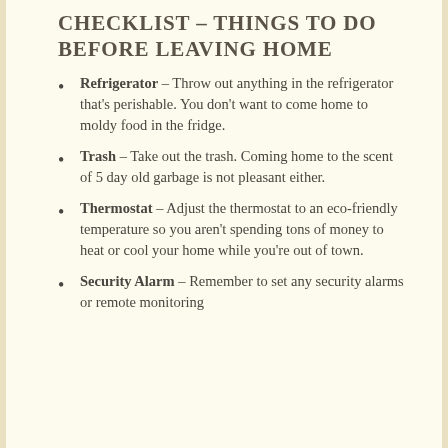CHECKLIST – THINGS TO DO BEFORE LEAVING HOME
Refrigerator – Throw out anything in the refrigerator that's perishable. You don't want to come home to moldy food in the fridge.
Trash – Take out the trash. Coming home to the scent of 5 day old garbage is not pleasant either.
Thermostat – Adjust the thermostat to an eco-friendly temperature so you aren't spending tons of money to heat or cool your home while you're out of town.
Security Alarm – Remember to set any security alarms or remote monitoring